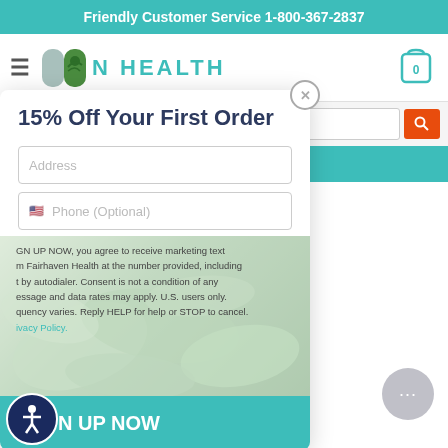Friendly Customer Service 1-800-367-2837
[Figure (screenshot): Fairhaven Health website navigation bar with hamburger menu, logo, brand name 'N HEALTH' partially visible, and shopping cart icon with 0 items]
[Figure (screenshot): Search bar with orange search button]
EE 2-Day $69+ (US)
rmometer
ce traffic and improve your rmation with our advertising to use our site, you accept our ivacy Policy.
[Figure (screenshot): Modal popup with '15% Off Your First Order' offer, email address input, phone (optional) input, legal text about marketing texts from Fairhaven Health, Privacy Policy link, and teal 'N UP NOW' (SIGN UP NOW) button. Accessibility icon in bottom-left corner.]